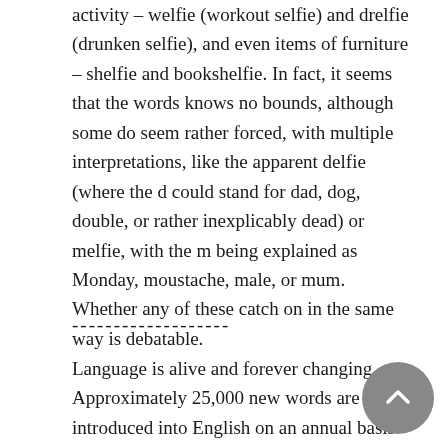activity – welfie (workout selfie) and drelfie (drunken selfie), and even items of furniture – shelfie and bookshelfie. In fact, it seems that the words knows no bounds, although some do seem rather forced, with multiple interpretations, like the apparent delfie (where the d could stand for dad, dog, double, or rather inexplicably dead) or melfie, with the m being explained as Monday, moustache, male, or mum. Whether any of these catch on in the same way is debatable.
-------------------
Language is alive and forever changing. Approximately 25,000 new words are introduced into English on an annual basis. In the spirit of teaching you vocabulary skills in an entertaining way and to keep you with a finger on the linguistic pulse, the language network Verbalist brings favourite 'new' words and expressions to the